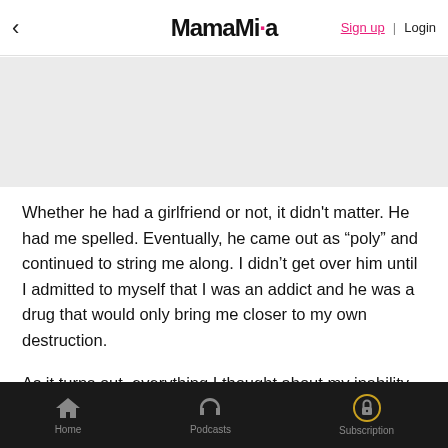< MamaMia | Sign up | Login
[Figure (other): Gray banner/advertisement area]
Whether he had a girlfriend or not, it didn't matter. He had me spelled. Eventually, he came out as “poly” and continued to string me along. I didn’t get over him until I admitted to myself that I was an addict and he was a drug that would only bring me closer to my own destruction.
As it turns out, everything I thought about my inability to get through motherhood without him was wrong. He was never willing to be the dad our daughter needs,
Home | Podcasts | Subscription